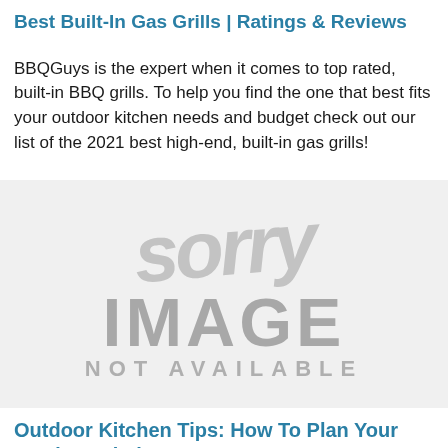Best Built-In Gas Grills | Ratings & Reviews
BBQGuys is the expert when it comes to top rated, built-in BBQ grills. To help you find the one that best fits your outdoor kitchen needs and budget check out our list of the 2021 best high-end, built-in gas grills!
[Figure (photo): Image not available watermark placeholder showing 'sorry IMAGE NOT AVAILABLE' text in gray]
Outdoor Kitchen Tips: How To Plan Your Outdoor Kitchen Zones
Check out these helpful tips on creating strategic "zones" in your outdoor kitchen design. This will help you to decide how your outdoor kitchen appliances